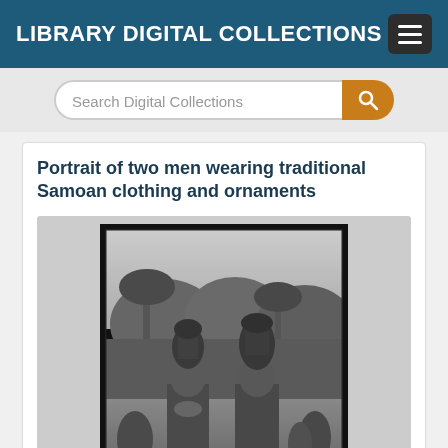LIBRARY DIGITAL COLLECTIONS
Search Digital Collections
Portrait of two men wearing traditional Samoan clothing and ornaments
[Figure (photo): Black and white historical photograph of two men wearing traditional Samoan clothing and ornaments including elaborate headdresses, standing outdoors with palm trees and foliage in the background.]